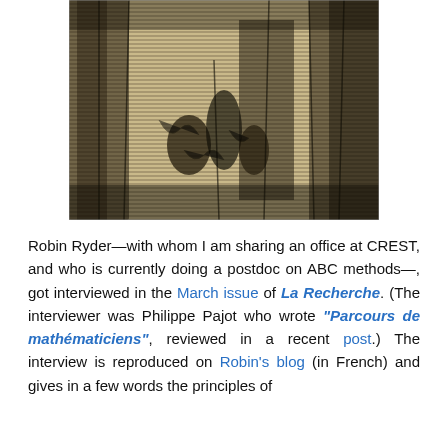[Figure (illustration): A dark abstract etching or drawing with horizontal lines creating a texture reminiscent of blinds or a forest, with shadowy human-like figures in the middle ground, rendered in dark brown/black tones on a beige/tan background.]
Robin Ryder—with whom I am sharing an office at CREST, and who is currently doing a postdoc on ABC methods—, got interviewed in the March issue of La Recherche. (The interviewer was Philippe Pajot who wrote "Parcours de mathématiciens", reviewed in a recent post.) The interview is reproduced on Robin's blog (in French) and gives in a few words the principles of